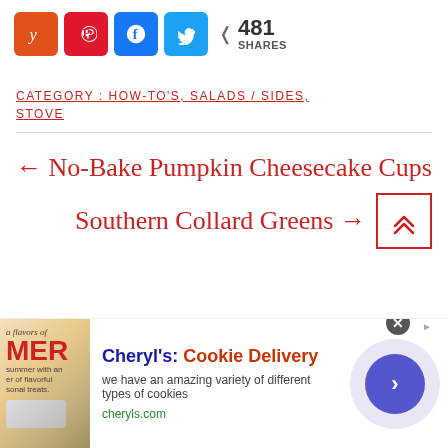[Figure (infographic): Social share buttons: Yummly (orange), Pinterest (red), Facebook (blue), Twitter (light blue), and share count showing 481 SHARES]
CATEGORY : HOW-TO'S, SALADS / SIDES, STOVE
← No-Bake Pumpkin Cheesecake Cups
Southern Collard Greens →
[Figure (infographic): Advertisement banner for Cheryl's Cookie Delivery with text: 'we have an amazing variety of different types of cookies' and cheryls.com URL]